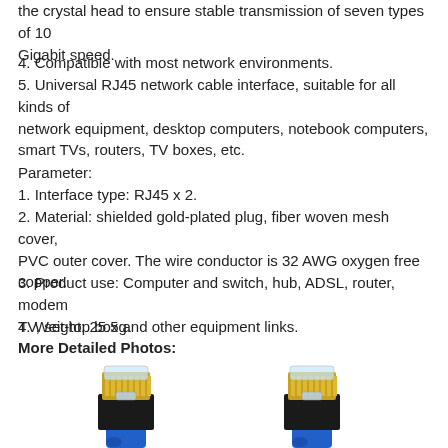the crystal head to ensure stable transmission of seven types of 10 Gigabit speed.
4. Compatible with most network environments.
5. Universal RJ45 network cable interface, suitable for all kinds of network equipment, desktop computers, notebook computers, smart TVs, routers, TV boxes, etc.
Parameter:
1. Interface type: RJ45 x 2.
2. Material: shielded gold-plated plug, fiber woven mesh cover, PVC outer cover. The wire conductor is 32 AWG oxygen free copper.
3. Product use: Computer and switch, hub, ADSL, router, modem TV, set-top box and other equipment links.
4. Weight: 25.5g.
More Detailed Photos:
[Figure (photo): Two RJ45 gold-plated network cable connectors with blue flat cable ends, side by side]